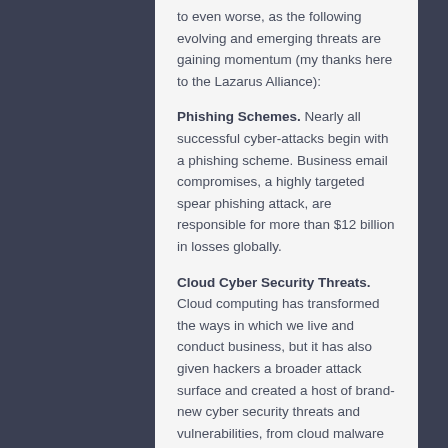to even worse, as the following evolving and emerging threats are gaining momentum (my thanks here to the Lazarus Alliance):
Phishing Schemes. Nearly all successful cyber-attacks begin with a phishing scheme. Business email compromises, a highly targeted spear phishing attack, are responsible for more than $12 billion in losses globally.
Cloud Cyber Security Threats. Cloud computing has transformed the ways in which we live and conduct business, but it has also given hackers a broader attack surface and created a host of brand-new cyber security threats and vulnerabilities, from cloud malware to misconfigured Amazon Web Service (AWS) buckets. Cloud security must be addressed differently than on-premises security, and solid